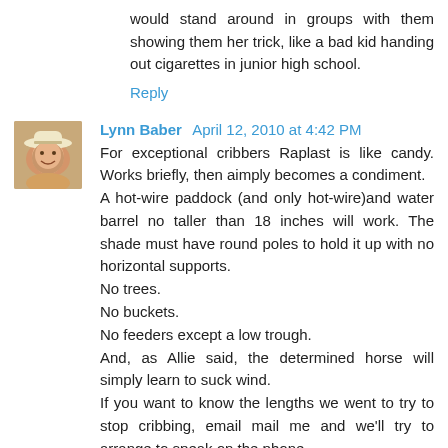would stand around in groups with them showing them her trick, like a bad kid handing out cigarettes in junior high school.
Reply
[Figure (photo): Avatar photo of Lynn Baber, a woman wearing a white hat, smiling]
Lynn Baber  April 12, 2010 at 4:42 PM
For exceptional cribbers Raplast is like candy. Works briefly, then aimply becomes a condiment.
A hot-wire paddock (and only hot-wire)and water barrel no taller than 18 inches will work. The shade must have round poles to hold it up with no horizontal supports.
No trees.
No buckets.
No feeders except a low trough.
And, as Allie said, the determined horse will simply learn to suck wind.
If you want to know the lengths we went to try to stop cribbing, email mail me and we'll try to arrange to speak on the phone.
www.AmazingGrays.us